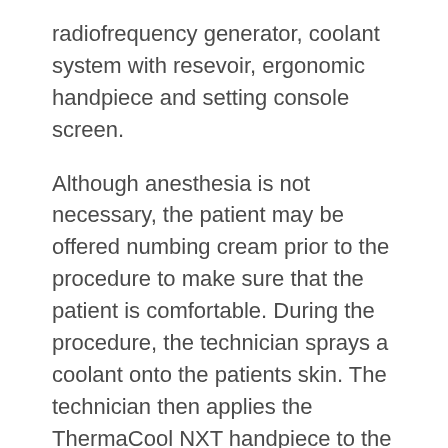radiofrequency generator, coolant system with resevoir, ergonomic handpiece and setting console screen.
Although anesthesia is not necessary, the patient may be offered numbing cream prior to the procedure to make sure that the patient is comfortable. During the procedure, the technician sprays a coolant onto the patients skin. The technician then applies the ThermaCool NXT handpiece to the patient's skin. Depending on the size of the treatment area, the entire procedure can last anywhere from a few minutes to an hour. Sometimes there may be a mild pinching or burning sensation, which quickly dissipates. Patients can resume normal